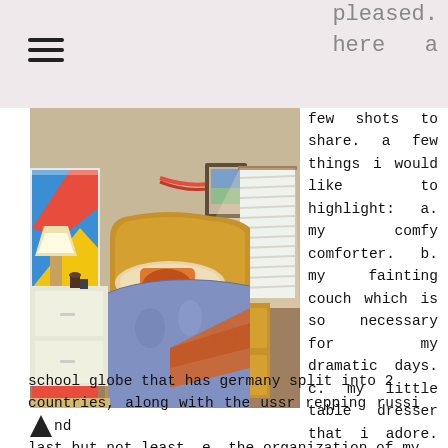pleased. here a
[Figure (photo): Bedroom photo showing a bed with a colorful comforter, wooden headboard and dresser drawers underneath, a small white nightstand with a lamp and items on top, a framed picture on the wall, blinds on a window letting in light, and colorful artwork on the left wall.]
few shots to share. a few things i would like to highlight: a. my comfy comforter. b. my fainting couch which is so necessary for my dramatic days. c. my little table dresser that i adore. d. my old school globe that has germany split into 2 countries, along with the ussr repping russia. and last but not least, e. the organization of my